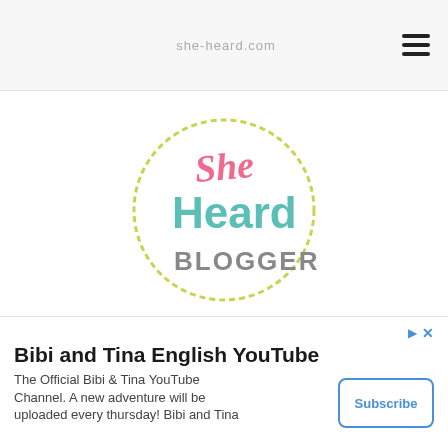she-heard.com
[Figure (logo): She Heard Blogger logo: circular dashed yellow-green border with 'She' in pink script, 'Heard' in teal, and 'BLOGGER' in gray bold text]
[Figure (other): Dark rounded rectangle card with a yellow anchor-like icon in the center]
[Figure (other): White rounded box on left with a chevron/down-arrow symbol]
Bibi and Tina English YouTube
The Official Bibi & Tina YouTube Channel. A new adventure will be uploaded every thursday! Bibi and Tina